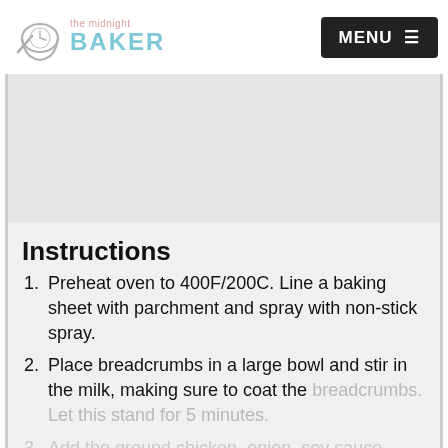the midnight BAKER | MENU
[Figure (logo): The Midnight Baker logo: a grey bowl with a clock face and spoon, next to text reading 'the midnight' in pink and 'BAKER' in light blue bold uppercase]
Instructions
Preheat oven to 400F/200C. Line a baking sheet with parchment and spray with non-stick spray.
Place breadcrumbs in a large bowl and stir in the milk, making sure to coat the breadcrumbs. Let this stand for 5 minutes.
Add the ground chicken, onion, soy sauce